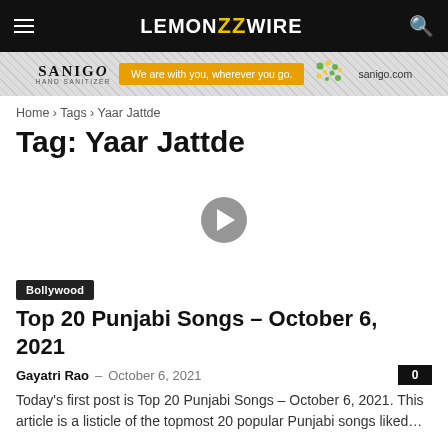LEMON ZZ WIRE
[Figure (other): SaniGo hand sanitizer advertisement banner with orange button and dot graphic]
Home › Tags › Yaar Jattde
Tag: Yaar Jattde
[Figure (other): Video thumbnail with gray play button on white background]
Bollywood
Top 20 Punjabi Songs – October 6, 2021
Gayatri Rao – October 6, 2021
Today's first post is Top 20 Punjabi Songs – October 6, 2021. This article is a listicle of the topmost 20 popular Punjabi songs liked…